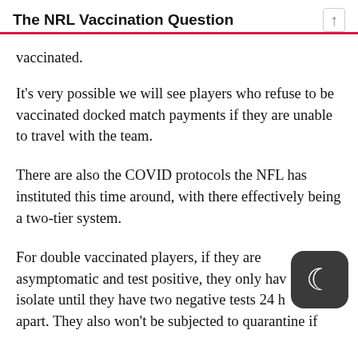The NRL Vaccination Question
vaccinated.
It's very possible we will see players who refuse to be vaccinated docked match payments if they are unable to travel with the team.
There are also the COVID protocols the NFL has instituted this time around, with there effectively being a two-tier system.
For double vaccinated players, if they are asymptomatic and test positive, they only have isolate until they have two negative tests 24 ho apart. They also won't be subjected to quarantine if